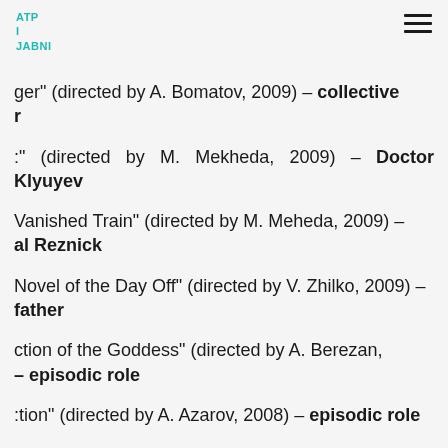ATP
I
JABNI
ger" (directed by A. Bomatov, 2009) – collective r
:" (directed by M. Mekheda, 2009) – Doctor Klyuyev
Vanished Train" (directed by M. Meheda, 2009) – al Reznick
Novel of the Day Off" (directed by V. Zhilko, 2009) – father
ction of the Goddess" (directed by A. Berezan, – episodic role
:tion" (directed by A. Azarov, 2008) – episodic role
lise birds" (directed by R. Balayan, 2008) – neighbor
Andrey" (directed by L. Yanchuk, 2008) – investigator
w for a Daughter" (directed by Z. Buadze, 2007)